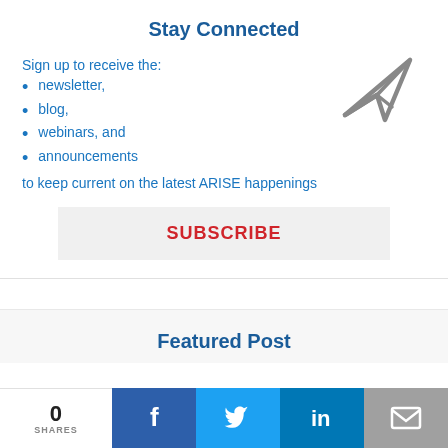Stay Connected
Sign up to receive the:
newsletter,
blog,
webinars, and
announcements
to keep current on the latest ARISE happenings
[Figure (illustration): Paper airplane / send icon outline in gray]
SUBSCRIBE
Featured Post
0 SHARES
[Figure (infographic): Social share bar with Facebook, Twitter, LinkedIn, and email icons]